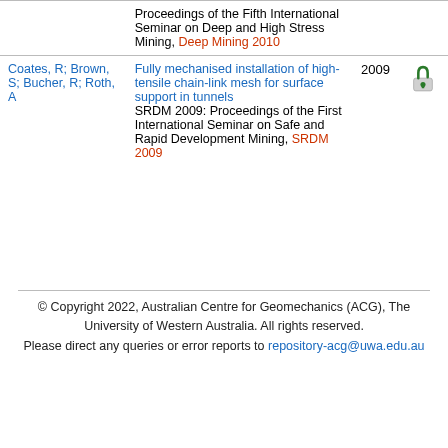| Authors | Title/Publication | Year | Access |
| --- | --- | --- | --- |
|  | Proceedings of the Fifth International Seminar on Deep and High Stress Mining, Deep Mining 2010 |  |  |
| Coates, R; Brown, S; Bucher, R; Roth, A | Fully mechanised installation of high-tensile chain-link mesh for surface support in tunnels
SRDM 2009: Proceedings of the First International Seminar on Safe and Rapid Development Mining, SRDM 2009 | 2009 | open-access |
© Copyright 2022, Australian Centre for Geomechanics (ACG), The University of Western Australia. All rights reserved. Please direct any queries or error reports to repository-acg@uwa.edu.au